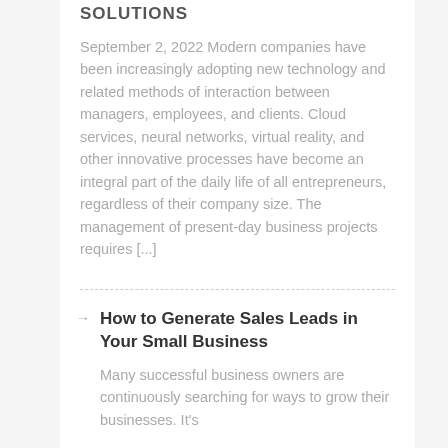SOLUTIONS
September 2, 2022 Modern companies have been increasingly adopting new technology and related methods of interaction between managers, employees, and clients. Cloud services, neural networks, virtual reality, and other innovative processes have become an integral part of the daily life of all entrepreneurs, regardless of their company size. The management of present-day business projects requires [...]
How to Generate Sales Leads in Your Small Business
Many successful business owners are continuously searching for ways to grow their businesses. It's